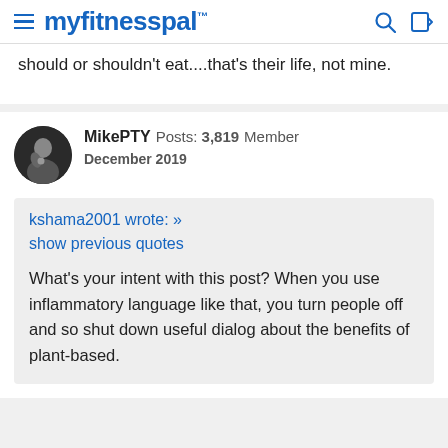myfitnesspal
should or shouldn't eat....that's their life, not mine.
MikePTY  Posts: 3,819  Member
December 2019
kshama2001 wrote: »
show previous quotes

What's your intent with this post? When you use inflammatory language like that, you turn people off and so shut down useful dialog about the benefits of plant-based.